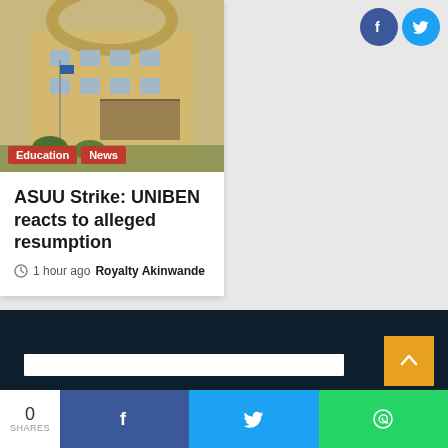[Figure (photo): University building photograph with sandy/beige exterior, large windows, archway structure, and flags visible in foreground]
Education
News
ASUU Strike: UNIBEN reacts to alleged resumption
1 hour ago  Royalty Akinwande
[Figure (infographic): Social sharing bar at bottom with Facebook, Twitter, WhatsApp buttons showing 0 shares]
[Figure (logo): Facebook circle icon (blue) and Twitter circle icon (light blue) in top right]